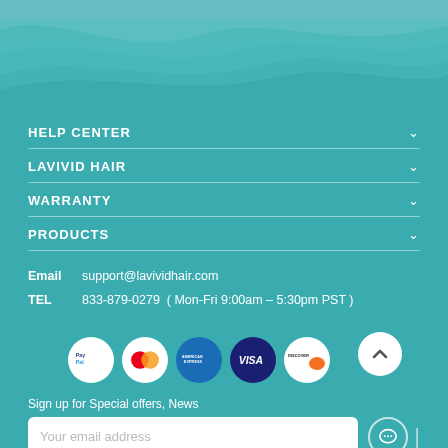[Figure (illustration): Teal wave design at top of page footer]
HELP CENTER
LAVIVID HAIR
WARRANTY
PRODUCTS
Email   support@lavividhair.com
TEL     833-879-0279  ( Mon-Fri 9:00am – 5:30pm PST )
[Figure (infographic): Payment method icons: PayPal, MasterCard, American Express, Visa, Discover]
Sign up for Special offers, News
Your email address